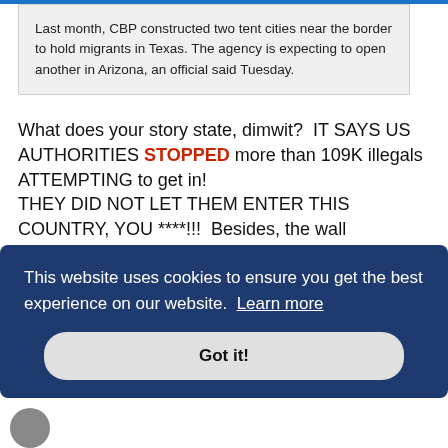Last month, CBP constructed two tent cities near the border to hold migrants in Texas. The agency is expecting to open another in Arizona, an official said Tuesday.
What does your story state, dimwit?  IT SAYS US AUTHORITIES STOPPED more than 109K illegals ATTEMPTING to get in!
THEY DID NOT LET THEM ENTER THIS COUNTRY, YOU ****!!!  Besides, the wall construction wasn't nearly as far along in May of 2019, making your feeble attempt to defend your previous **** totally pointless!
This website uses cookies to ensure you get the best experience on our website. Learn more
Got it!